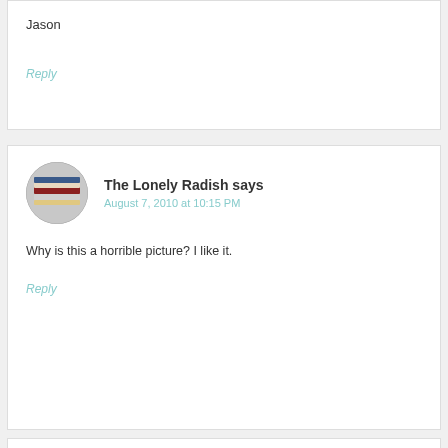[Figure (other): Hamburger menu icon (three horizontal lines) in top right corner]
Jason
Reply
[Figure (photo): Circular avatar image showing stacked books or notebooks]
The Lonely Radish says
August 7, 2010 at 10:15 PM
Why is this a horrible picture? I like it.
Reply